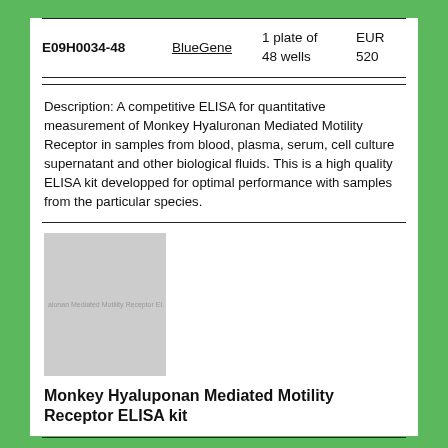| Code | Brand | Quantity | Price |
| --- | --- | --- | --- |
| E09H0034-48 | BlueGene | 1 plate of 48 wells | EUR 520 |
Description: A competitive ELISA for quantitative measurement of Monkey Hyaluronan Mediated Motility Receptor in samples from blood, plasma, serum, cell culture supernatant and other biological fluids. This is a high quality ELISA kit developped for optimal performance with samples from the particular species.
[Figure (photo): Product image placeholder showing Monkey Hyaluronan Mediated Motility Receptor ELISA kit box, light gray background with faint text]
Monkey Hyaluроnan Mediated Motility Receptor ELISA kit